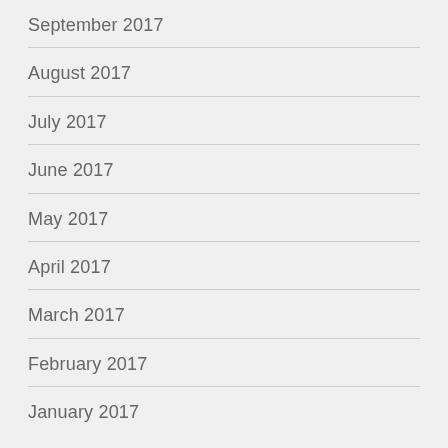September 2017
August 2017
July 2017
June 2017
May 2017
April 2017
March 2017
February 2017
January 2017